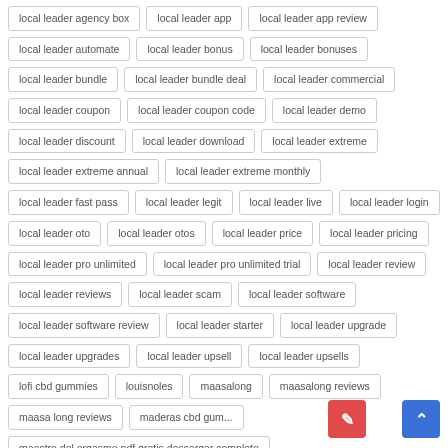local leader agency box
local leader app
local leader app review
local leader automate
local leader bonus
local leader bonuses
local leader bundle
local leader bundle deal
local leader commercial
local leader coupon
local leader coupon code
local leader demo
local leader discount
local leader download
local leader extreme
local leader extreme annual
local leader extreme monthly
local leader fast pass
local leader legit
local leader live
local leader login
local leader oto
local leader otos
local leader price
local leader pricing
local leader pro unlimited
local leader pro unlimited trial
local leader review
local leader reviews
local leader scam
local leader software
local leader software review
local leader starter
local leader upgrade
local leader upgrades
local leader upsell
local leader upsells
lofi cbd gummies
louisnoles
maasalong
maasalong reviews
maasa long reviews
maderas cbd gum...
maestro del orgasmo pdf gratis descargar completo